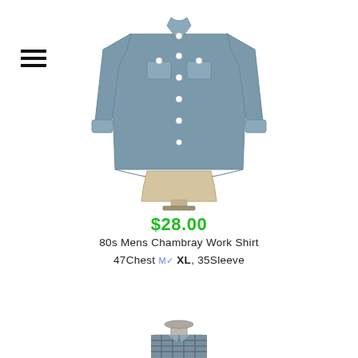[Figure (photo): A blue-grey chambray long-sleeve work shirt displayed on a dress form/mannequin with a beige torso. The shirt has two chest pockets with white snap buttons and a classic collar.]
$28.00
80s Mens Chambray Work Shirt
47Chest M✓ XL, 35Sleeve
[Figure (photo): Partial view of a second shirt on a mannequin, showing the collar and upper chest area of a plaid or checkered shirt.]